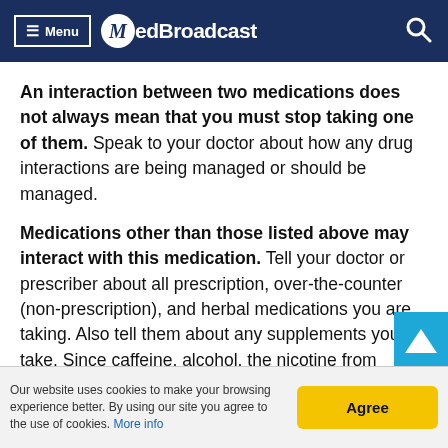MedBroadcast
An interaction between two medications does not always mean that you must stop taking one of them. Speak to your doctor about how any drug interactions are being managed or should be managed.
Medications other than those listed above may interact with this medication. Tell your doctor or prescriber about all prescription, over-the-counter (non-prescription), and herbal medications you are taking. Also tell them about any supplements you take. Since caffeine, alcohol, the nicotine from cigarettes, or street drugs can affect the action of many medications, you should let your prescriber know if you use them.
Our website uses cookies to make your browsing experience better. By using our site you agree to the use of cookies. More info